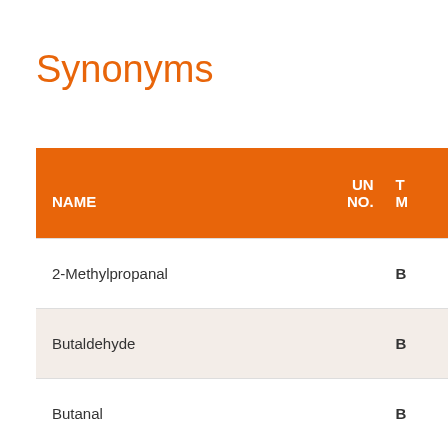Synonyms
| NAME | UN NO. | T M |
| --- | --- | --- |
| 2-Methylpropanal |  | B |
| Butaldehyde |  | B |
| Butanal |  | B |
| Butyric aldehyde |  | B |